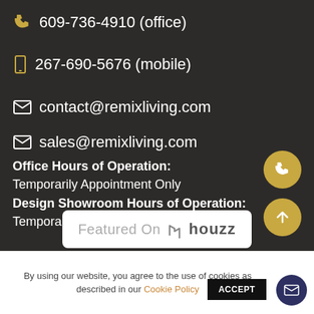609-736-4910 (office)
267-690-5676 (mobile)
contact@remixliving.com
sales@remixliving.com
Office Hours of Operation: Temporarily Appointment Only
Design Showroom Hours of Operation: Temporarily Appointment Only
[Figure (logo): Featured On houzz badge]
By using our website, you agree to the use of cookies as described in our Cookie Policy ACCEPT